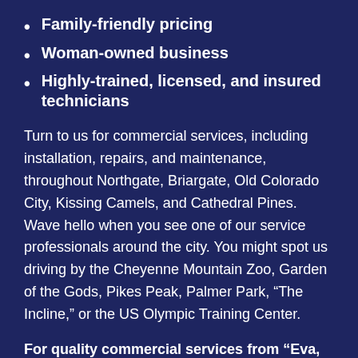Family-friendly pricing
Woman-owned business
Highly-trained, licensed, and insured technicians
Turn to us for commercial services, including installation, repairs, and maintenance, throughout Northgate, Briargate, Old Colorado City, Kissing Camels, and Cathedral Pines. Wave hello when you see one of our service professionals around the city. You might spot us driving by the Cheyenne Mountain Zoo, Garden of the Gods, Pikes Peak, Palmer Park, “The Incline,” or the US Olympic Training Center.
For quality commercial services from “Eva, The